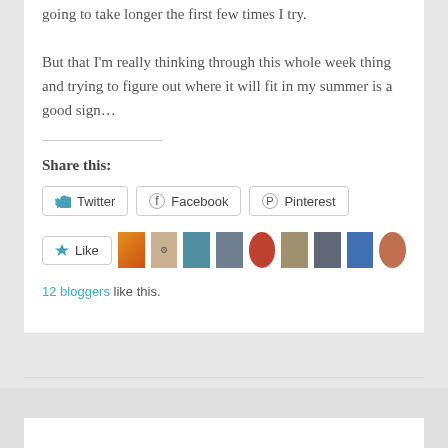going to take longer the first few times I try.
But that I'm really thinking through this whole week thing and trying to figure out where it will fit in my summer is a good sign…
Share this:
[Figure (screenshot): Social share buttons: Twitter, Facebook, Pinterest]
[Figure (screenshot): Like button and blogger avatars row. 12 bloggers like this.]
12 bloggers like this.